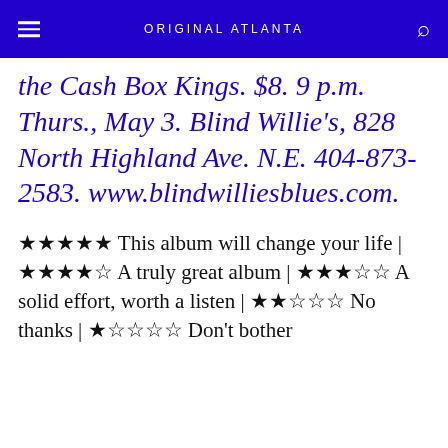ORIGINAL ATLANTA
the Cash Box Kings. $8. 9 p.m. Thurs., May 3. Blind Willie's, 828 North Highland Ave. N.E. 404-873-2583. www.blindwilliesblues.com.
★★★★★ This album will change your life | ★★★★☆ A truly great album | ★★★☆☆ A solid effort, worth a listen | ★★☆☆☆ No thanks | ★☆☆☆☆ Don't bother